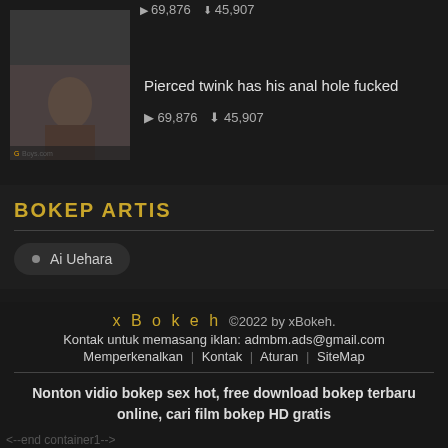▶ 69,876  ⬇ 45,907
[Figure (photo): Thumbnail of young man, shirtless, eyes closed]
Pierced twink has his anal hole fucked
▶ 69,876  ⬇ 45,907
BOKEP ARTIS
Ai Uehara
xBokeh  ©2022 by xBokeh.
Kontak untuk memasang iklan: admbm.ads@gmail.com
Memperkenalkan | Kontak | Aturan | SiteMap
Nonton vidio bokep sex hot, free download bokep terbaru online, cari film bokep HD gratis
<--end container1-->